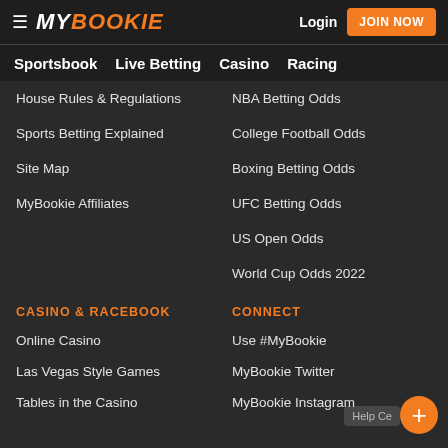MY BOOKIE | Login | JOIN NOW
Sportsbook  Live Betting  Casino  Racing
House Rules & Regulations
NBA Betting Odds
Sports Betting Explained
College Football Odds
Site Map
Boxing Betting Odds
MyBookie Affiliates
UFC Betting Odds
US Open Odds
World Cup Odds 2022
CASINO & RACEBOOK
CONNECT
Online Casino
Use #MyBookie
Las Vegas Style Games
MyBookie Twitter
Tables in the Casino
MyBookie Instagram